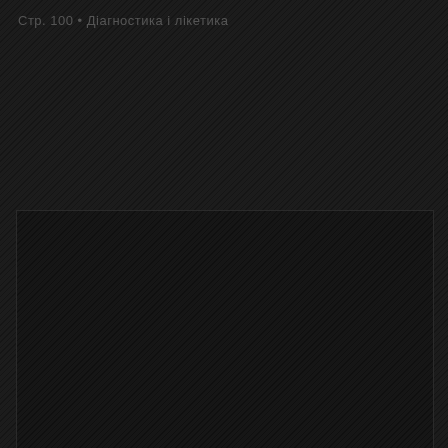Стр. 100 • Диагностика і лікетика
[Figure (screenshot): Dark panel with diagonal stripe texture pattern, occupying lower two-thirds of the page. Contains two small icon boxes in the bottom-left corner and a right arrow navigation element in the bottom-right.]